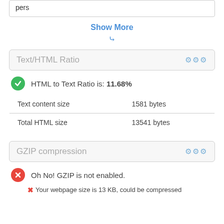pers
Show More
Text/HTML Ratio
HTML to Text Ratio is: 11.68%
| Text content size | 1581 bytes |
| Total HTML size | 13541 bytes |
GZIP compression
Oh No! GZIP is not enabled.
Your webpage size is 13 KB, could be compressed